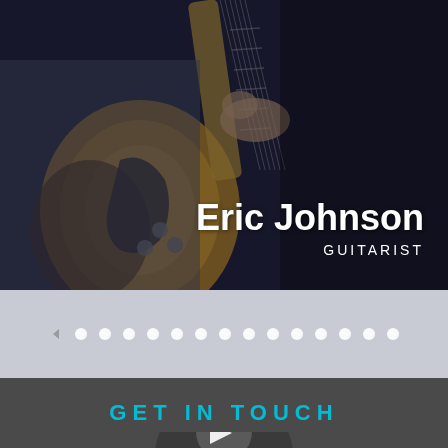[Figure (photo): A guitarist playing a Fender Stratocaster electric guitar. The image is dark/moody with the guitarist's hands visible on the guitar neck and body.]
Eric Johnson
GUITARIST
[Figure (other): Navigation dots row with a left arrow and 14 white circular dots on a grey-blue background, indicating a carousel/slideshow.]
GET IN TOUCH
[Figure (other): Partial view of a dark oval/person icon suggesting a contact profile avatar, partially visible at the bottom of the page.]